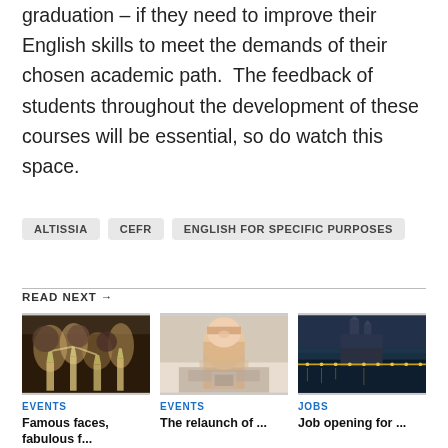graduation – if they need to improve their English skills to meet the demands of their chosen academic path.  The feedback of students throughout the development of these courses will be essential, so do watch this space.
ALTISSIA
CEFR
ENGLISH FOR SPECIFIC PURPOSES
READ NEXT →
[Figure (photo): People clinking champagne glasses at a celebration event]
[Figure (photo): Woman smiling while looking at a tablet or book at a cafe]
[Figure (photo): Illuminated cathedral and bridge at dusk]
EVENTS
EVENTS
JOBS
Famous faces, fabulous f...
The relaunch of ...
Job opening for ...